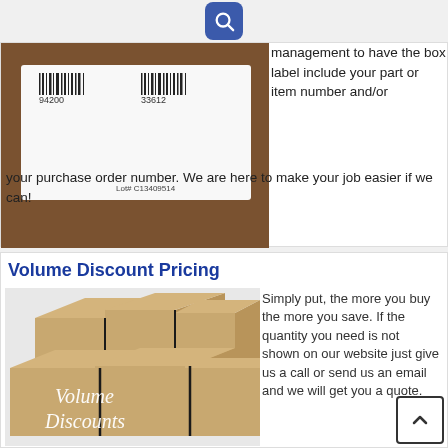[Figure (photo): Box label with barcodes and lot number C13409514]
management to have the box label include your part or item number and/or your purchase order number. We are here to make your job easier if we can!
Volume Discount Pricing
[Figure (photo): Stack of cardboard boxes with italic white text 'Volume Discounts']
Simply put, the more you buy the more you save. If the quantity you need is not shown on our website just give us a call or send us an email and we will get you a quote.